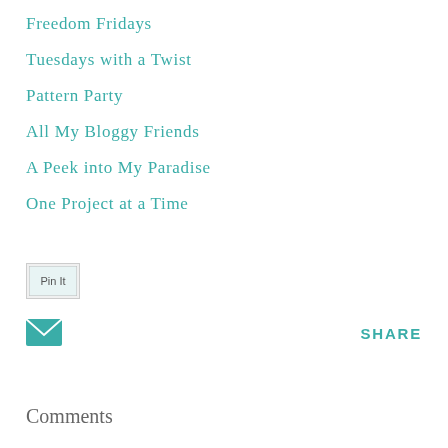Freedom Fridays
Tuesdays with a Twist
Pattern Party
All My Bloggy Friends
A Peek into My Paradise
One Project at a Time
[Figure (other): Pin It button image with border]
[Figure (other): Email/share envelope icon and SHARE label]
Comments